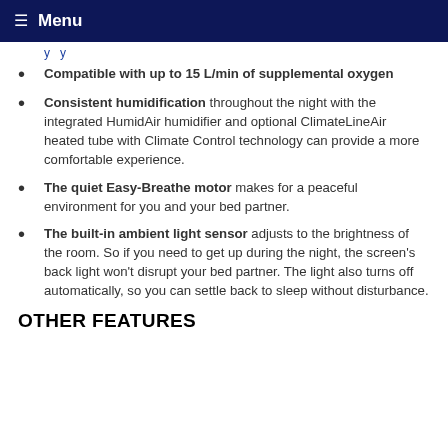Menu
y y
Compatible with up to 15 L/min of supplemental oxygen
Consistent humidification throughout the night with the integrated HumidAir humidifier and optional ClimateLineAir heated tube with Climate Control technology can provide a more comfortable experience.
The quiet Easy-Breathe motor makes for a peaceful environment for you and your bed partner.
The built-in ambient light sensor adjusts to the brightness of the room. So if you need to get up during the night, the screen's back light won't disrupt your bed partner. The light also turns off automatically, so you can settle back to sleep without disturbance.
OTHER FEATURES